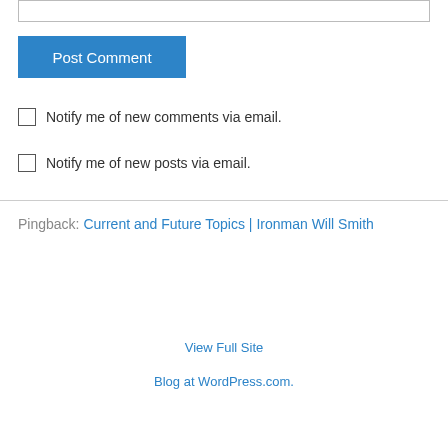[input bar]
Post Comment
Notify me of new comments via email.
Notify me of new posts via email.
Pingback: Current and Future Topics | Ironman Will Smith
View Full Site
Blog at WordPress.com.